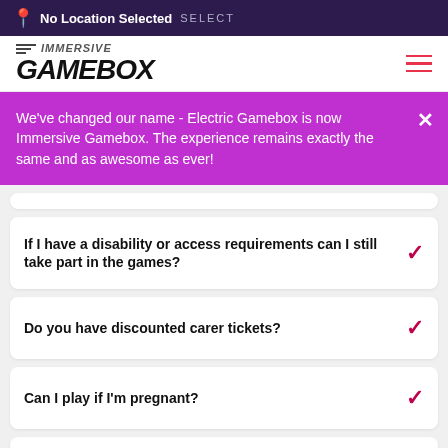No Location Selected SELECT
[Figure (logo): Immersive Gamebox logo with speed lines and hamburger menu]
We've changed our name - Electric Gamebox is now Immersive Gamebox. The experience remains exactly the same and as awesome as ever!
If I have a disability or access requirements can I still take part in the games?
Do you have discounted carer tickets?
Can I play if I'm pregnant?
Do you offer a student discount?